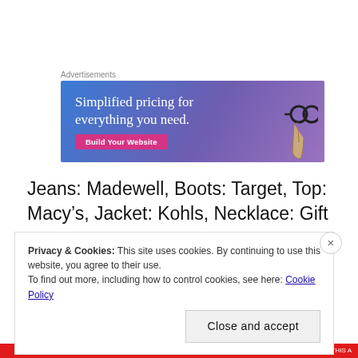Advertisements
[Figure (screenshot): Advertisement banner with blue-purple gradient background showing text 'Simplified pricing for everything you need.' with a pink 'Build Your Website' button and a hand holding glasses graphic on the right.]
Jeans: Madewell, Boots: Target, Top: Macy’s, Jacket: Kohls, Necklace: Gift
Privacy & Cookies: This site uses cookies. By continuing to use this website, you agree to their use.
To find out more, including how to control cookies, see here: Cookie Policy
Close and accept